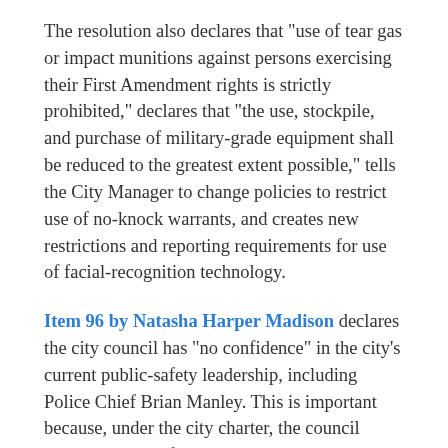The resolution also declares that "use of tear gas or impact munitions against persons exercising their First Amendment rights is strictly prohibited," declares that "the use, stockpile, and purchase of military-grade equipment shall be reduced to the greatest extent possible," tells the City Manager to change policies to restrict use of no-knock warrants, and creates new restrictions and reporting requirements for use of facial-recognition technology.
Item 96 by Natasha Harper Madison declares the city council has "no confidence" in the city's current public-safety leadership, including Police Chief Brian Manley. This is important because, under the city charter, the council cannot advocate firing or demoting Manley, only the city manager can do that. But they can express an opinion about his job performance, and a no-confidence vote would send a strong signal to City Manager